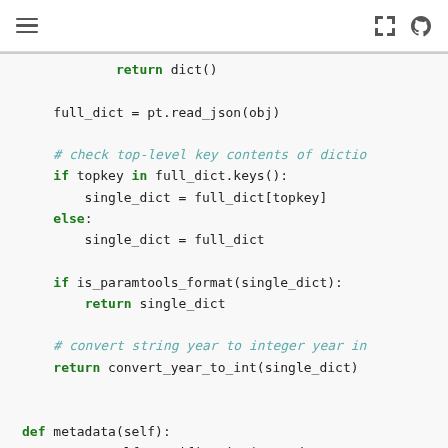[Figure (screenshot): Top navigation bar with hamburger menu icon on the left and expand/GitHub icons on the right]
return dict()

full_dict = pt.read_json(obj)

# check top-level key contents of dictio...
if topkey in full_dict.keys():
    single_dict = full_dict[topkey]
else:
    single_dict = full_dict

if is_paramtools_format(single_dict):
    return single_dict

# convert string year to integer year in...
return convert_year_to_int(single_dict)


def metadata(self):
    return self.specification(meta_data=True...

@staticmethod                                          [docs]
def years_in_revision(revision):
    """